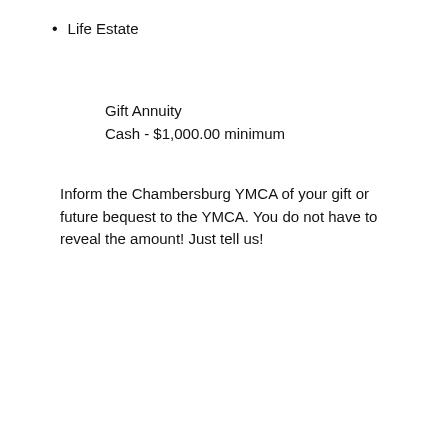Life Estate
Gift Annuity
Cash - $1,000.00 minimum
Inform the Chambersburg YMCA of your gift or future bequest to the YMCA. You do not have to reveal the amount! Just tell us!